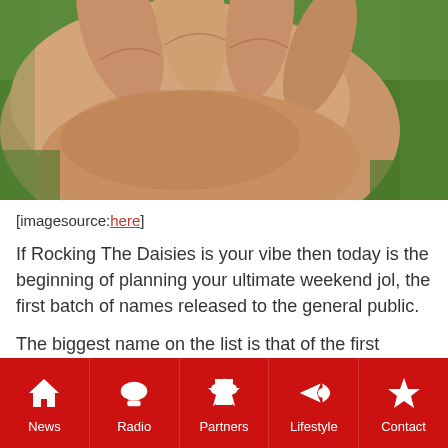[Figure (photo): Close-up photo of a human hand with fingers raised, with green grass visible in the background]
[imagesource:here]
If Rocking The Daisies is your vibe then today is the beginning of planning your ultimate weekend jol, the first batch of names released to the general public.
The biggest name on the list is that of the first international act announced, a certain Foster The People. You know, them of the 'Pumped Up Kicks' and 'Houdini' fame.
News | Radio | Partners | Lifestyle | Contact